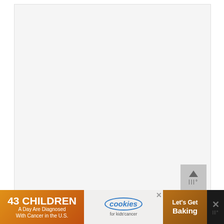[Figure (photo): Large empty/white image placeholder area for a food photo, with a scroll-to-top button in the bottom right corner showing an upward arrow and dots]
5. Southern Recipe Korean Kimchi BBQ Fried Pork Rinds
[Figure (other): Advertisement banner: '43 CHILDREN A Day Are Diagnosed With Cancer in the U.S.' with cookies for kids cancer logo and 'Let's Get Baking' text on cookie background]